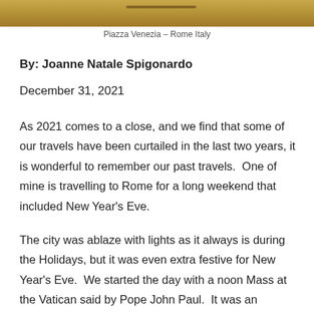[Figure (photo): Partial photo of Piazza Venezia, Rome Italy — a warm golden-toned image cropped at the top of the page showing architectural elements]
Piazza Venezia – Rome Italy
By: Joanne Natale Spigonardo
December 31, 2021
As 2021 comes to a close, and we find that some of our travels have been curtailed in the last two years, it is wonderful to remember our past travels.  One of mine is travelling to Rome for a long weekend that included New Year's Eve.
The city was ablaze with lights as it always is during the Holidays, but it was even extra festive for New Year's Eve.  We started the day with a noon Mass at the Vatican said by Pope John Paul.  It was an amazing experience to end and to start out the New Year with such significant spiritual guidance. We